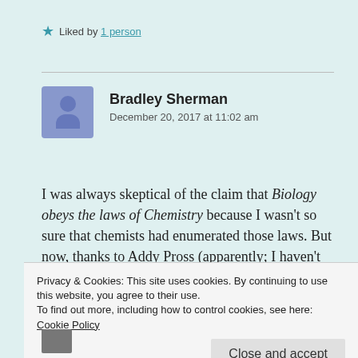Liked by 1 person
Bradley Sherman
December 20, 2017 at 11:02 am
I was always skeptical of the claim that Biology obeys the laws of Chemistry because I wasn't so sure that chemists had enumerated those laws. But now, thanks to Addy Pross (apparently; I haven't read the book yet, but will) Chemistry
Privacy & Cookies: This site uses cookies. By continuing to use this website, you agree to their use.
To find out more, including how to control cookies, see here: Cookie Policy